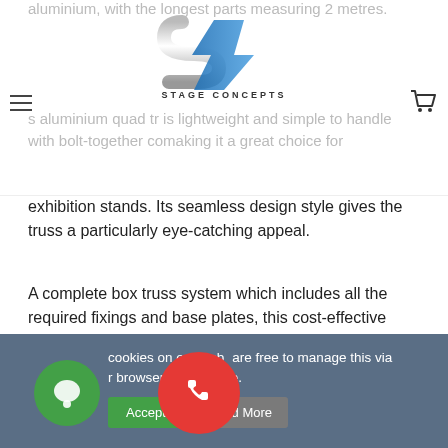Stage Concepts header with logo, hamburger menu, and cart icon
aluminium, with the longest parts measuring 2 metres.
s aluminium quad tr is lightweight and simple to handle with bolt-together co making it a great choice for exhibition stands. Its seamless design style gives the truss a particularly eye-catching appeal.
A complete box truss system which includes all the required fixings and base plates, this cost-effective exhibition stand is supplied ready to use. Made of high-grade T6 aluminium with a castellated (fine grooved) design that enhances the surface area for improved grip while also giving the truss a stylish glossy silver appearance.
Package Includes
cookies on our web are free to manage this via r browser setting at e.
Accept
Read More